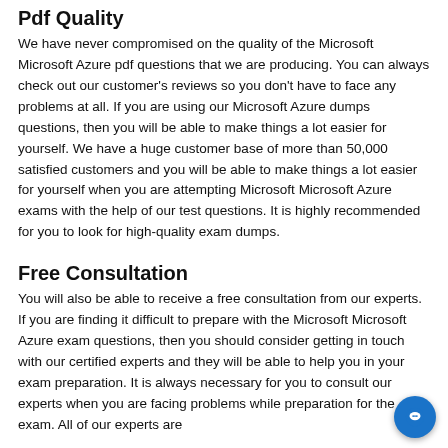Pdf Quality
We have never compromised on the quality of the Microsoft Microsoft Azure pdf questions that we are producing. You can always check out our customer's reviews so you don't have to face any problems at all. If you are using our Microsoft Azure dumps questions, then you will be able to make things a lot easier for yourself. We have a huge customer base of more than 50,000 satisfied customers and you will be able to make things a lot easier for yourself when you are attempting Microsoft Microsoft Azure exams with the help of our test questions. It is highly recommended for you to look for high-quality exam dumps.
Free Consultation
You will also be able to receive a free consultation from our experts. If you are finding it difficult to prepare with the Microsoft Microsoft Azure exam questions, then you should consider getting in touch with our certified experts and they will be able to help you in your exam preparation. It is always necessary for you to consult our experts when you are facing problems while preparation for the exam. All of our experts are